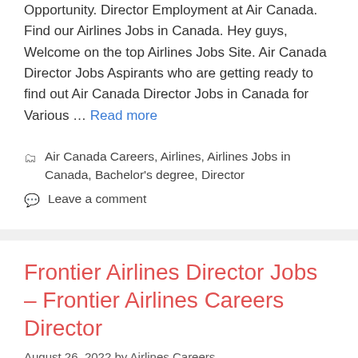Opportunity. Director Employment at Air Canada. Find our Airlines Jobs in Canada. Hey guys, Welcome on the top Airlines Jobs Site. Air Canada Director Jobs Aspirants who are getting ready to find out Air Canada Director Jobs in Canada for Various … Read more
Air Canada Careers, Airlines, Airlines Jobs in Canada, Bachelor's degree, Director
Leave a comment
Frontier Airlines Director Jobs – Frontier Airlines Careers Director
August 26, 2022 by Airlines Careers